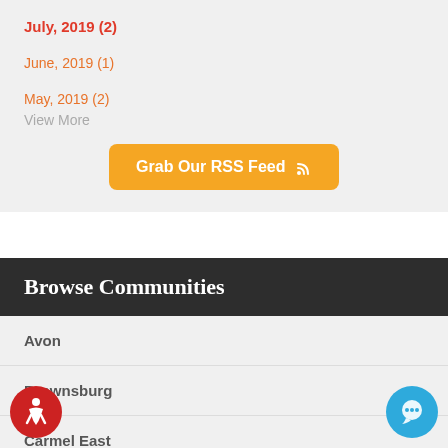July, 2019  (2)
June, 2019  (1)
May, 2019  (2)
View More
Grab Our RSS Feed
Browse Communities
Avon
Brownsburg
Carmel East
Carmel West